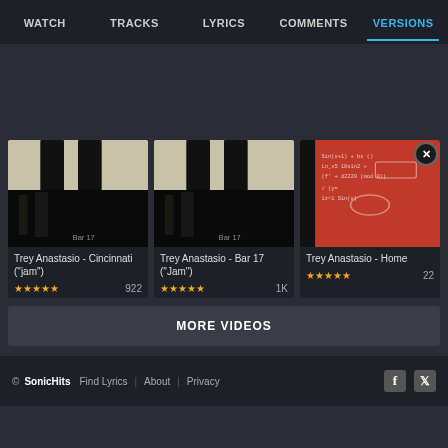WATCH | TRACKS | LYRICS | COMMENTS | VERSIONS
[Figure (screenshot): Thumbnail of piano keys image for Trey Anastasio Cincinnati jam video]
Trey Anastasio - Cincinnati ("jam")
★★★★★  922
[Figure (screenshot): Thumbnail of piano keys image for Trey Anastasio Bar 17 Jam video]
Trey Anastasio - Bar 17 ("Jam")
★★★★★  1K
[Figure (screenshot): Thumbnail of red background with math equations for Trey Anastasio Home video]
Trey Anastasio - Home
★★★★★  22
MORE VIDEOS
© SonicHits  Find Lyrics | About | Privacy